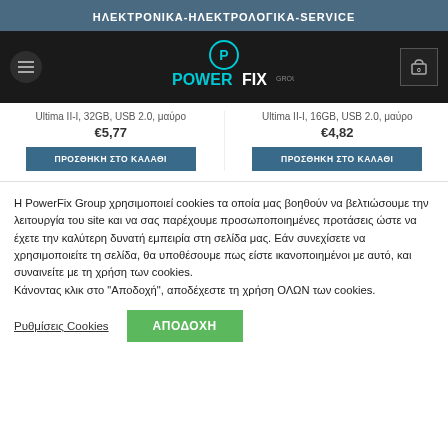ΗΛΕΚΤΡΟΝΙΚΑ-ΗΛΕΚΤΡΟΛΟΓΙΚΑ-SERVICE
[Figure (logo): PowerFix Group logo with circular P icon in cyan on black background, with hamburger menu and cart icon]
Ultima II-I, 32GB, USB 2.0, μαύρο
€5,77
Ultima II-I, 16GB, USB 2.0, μαύρο
€4,82
ΠΡΟΣΘΗΚΗ ΣΤΟ ΚΑΛΑΘΙ
ΠΡΟΣΘΗΚΗ ΣΤΟ ΚΑΛΑΘΙ
Η PowerFix Group χρησιμοποιεί cookies τα οποία μας βοηθούν να βελτιώσουμε την λειτουργία του site και να σας παρέχουμε προσωποποιημένες προτάσεις ώστε να έχετε την καλύτερη δυνατή εμπειρία στη σελίδα μας. Εάν συνεχίσετε να χρησιμοποιείτε τη σελίδα, θα υποθέσουμε πως είστε ικανοποιημένοι με αυτό, και συναινείτε με τη χρήση των cookies.
Κάνοντας κλικ στο "Αποδοχή", αποδέχεστε τη χρήση ΟΛΩΝ των cookies.
Ρυθμίσεις Cookies
ΑΠΟΔΟΧΗ